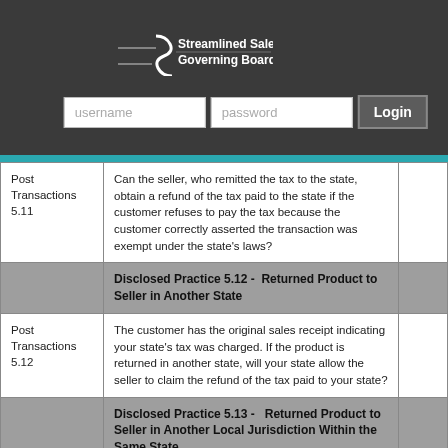[Figure (logo): Streamlined Sales Tax Governing Board, Inc. logo with stylized S graphic]
username
password
Login
|  |  |  |
| --- | --- | --- |
| Post Transactions 5.11 | Can the seller, who remitted the tax to the state, obtain a refund of the tax paid to the state if the customer refuses to pay the tax because the customer correctly asserted the transaction was exempt under the state's laws? |  |
|  | Disclosed Practice 5.12 -  Returned Product to Seller in Another State |  |
| Post Transactions 5.12 | The customer has the original sales receipt indicating your state's tax was charged. If the product is returned in another state, will your state allow the seller to claim the refund of the tax paid to your state? |  |
|  | Disclosed Practice 5.13 -   Returned Product to Seller in Another Local Jurisdiction Within the Same State |  |
|  |  |  |